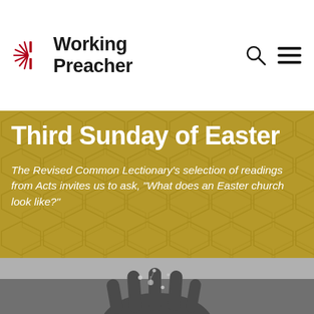Working Preacher
Third Sunday of Easter
The Revised Common Lectionary's selection of readings from Acts invites us to ask, “What does an Easter church look like?”
[Figure (photo): Black and white photograph of a hand with water droplets falling on it, viewed from above against a grey background.]